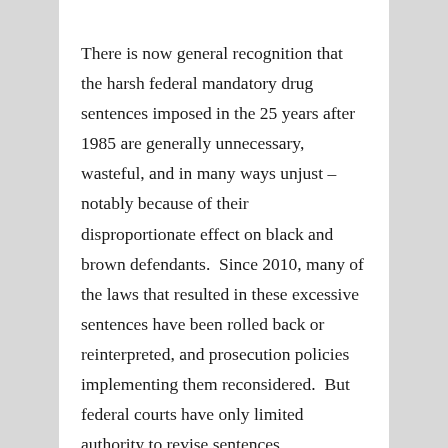There is now general recognition that the harsh federal mandatory drug sentences imposed in the 25 years after 1985 are generally unnecessary, wasteful, and in many ways unjust – notably because of their disproportionate effect on black and brown defendants.  Since 2010, many of the laws that resulted in these excessive sentences have been rolled back or reinterpreted, and prosecution policies implementing them reconsidered.  But federal courts have only limited authority to revise sentences retroactively.
Recognizing the problem, in early 2014 President Obama committed himself to using his constitutional pardon power to commute